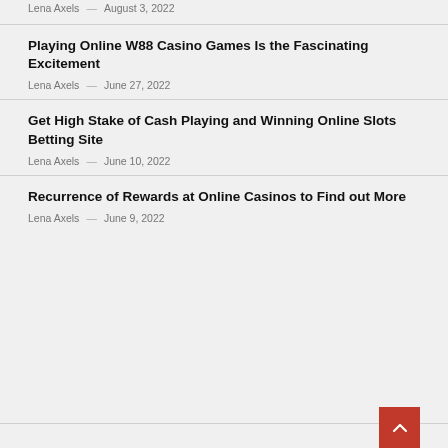Lena Axels — August 3, 2022
Playing Online W88 Casino Games Is the Fascinating Excitement
Lena Axels — June 27, 2022
Get High Stake of Cash Playing and Winning Online Slots Betting Site
Lena Axels — June 10, 2022
Recurrence of Rewards at Online Casinos to Find out More
Lena Axels — June 9, 2022